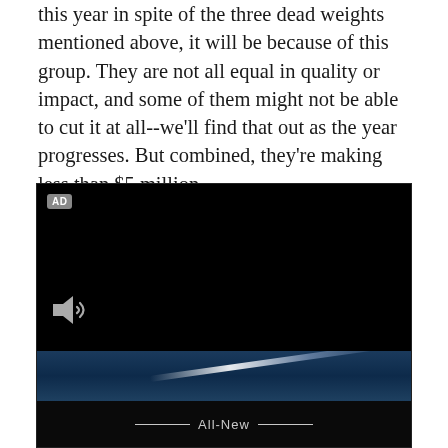this year in spite of the three dead weights mentioned above, it will be because of this group. They are not all equal in quality or impact, and some of them might not be able to cut it at all--we'll find that out as the year progresses. But combined, they're making less than $5 million.
[Figure (screenshot): Video advertisement player showing a black screen with an 'AD' badge in the top-left corner, a speaker/mute icon at the bottom-left, and a bottom strip with a dark blue banner featuring a bright light streak, and a lower black strip with 'All-New' text flanked by horizontal lines.]